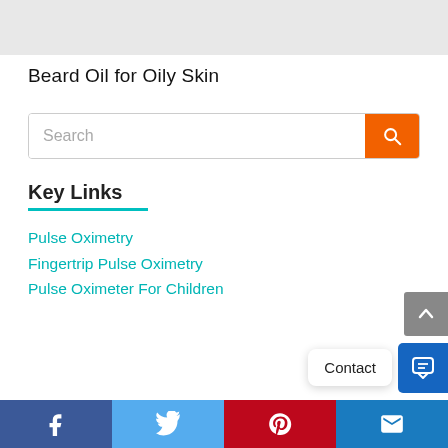[Figure (other): Gray banner image at top of page]
Beard Oil for Oily Skin
[Figure (other): Search bar with orange search button]
Key Links
Pulse Oximetry
Fingertrip Pulse Oximetry
Pulse Oximeter For Children
[Figure (other): Contact bubble and chat button overlay]
Facebook | Twitter | Pinterest | Email social share bar